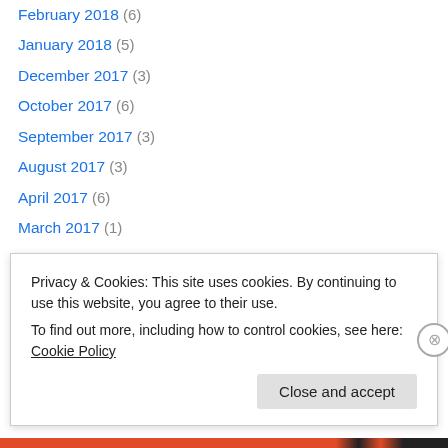February 2018 (6)
January 2018 (5)
December 2017 (3)
October 2017 (6)
September 2017 (3)
August 2017 (3)
April 2017 (6)
March 2017 (1)
January 2017 (6)
December 2016 (1)
October 2016 (4)
June 2016 (1)
May 2016 (4)
Privacy & Cookies: This site uses cookies. By continuing to use this website, you agree to their use. To find out more, including how to control cookies, see here: Cookie Policy
Close and accept